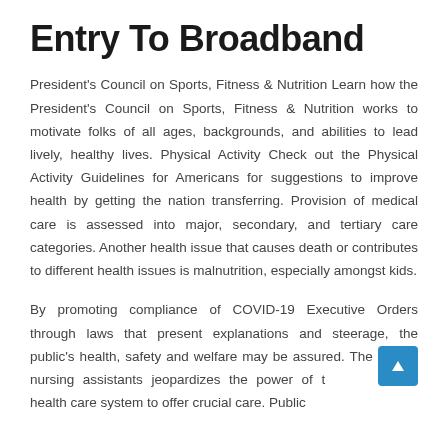Entry To Broadband
President's Council on Sports, Fitness & Nutrition Learn how the President's Council on Sports, Fitness & Nutrition works to motivate folks of all ages, backgrounds, and abilities to lead lively, healthy lives. Physical Activity Check out the Physical Activity Guidelines for Americans for suggestions to improve health by getting the nation transferring. Provision of medical care is assessed into major, secondary, and tertiary care categories. Another health issue that causes death or contributes to different health issues is malnutrition, especially amongst kids.
By promoting compliance of COVID-19 Executive Orders through laws that present explanations and steerage, the public's health, safety and welfare may be assured. The lack of nursing assistants jeopardizes the power of the State's health care system to offer crucial care. Public